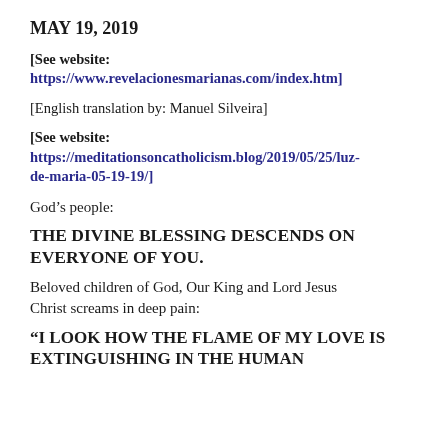MAY 19, 2019
[See website: https://www.revelacionesmarianas.com/index.htm]
[English translation by: Manuel Silveira]
[See website: https://meditationsoncatholicism.blog/2019/05/25/luz-de-maria-05-19-19/]
God's people:
THE DIVINE BLESSING DESCENDS ON EVERYONE OF YOU.
Beloved children of God, Our King and Lord Jesus Christ screams in deep pain:
“I LOOK HOW THE FLAME OF MY LOVE IS EXTINGUISHING IN THE HUMAN